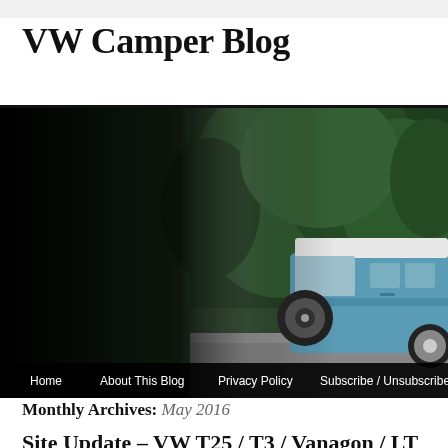VW Camper Blog
[Figure (photo): Banner image of a classic VW camper van in blue parked in front of green trees, with a dark gradient overlay on the left side. Below the image is a navigation bar with links: Home, About This Blog, Privacy Policy, Subscribe / Unsubscribe]
Monthly Archives: May 2016
Site Update – VW T25 / T3 / Vanagon / LT